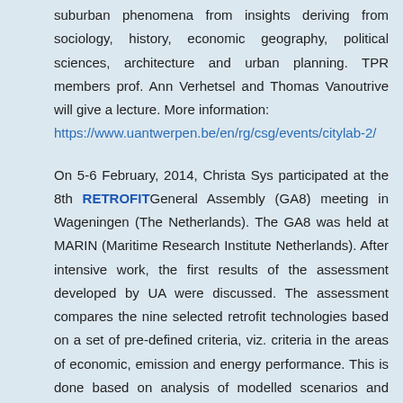suburban phenomena from insights deriving from sociology, history, economic geography, political sciences, architecture and urban planning. TPR members prof. Ann Verhetsel and Thomas Vanoutrive will give a lecture. More information: https://www.uantwerpen.be/en/rg/csg/events/citylab-2/
On 5-6 February, 2014, Christa Sys participated at the 8th RETROFIT General Assembly (GA8) meeting in Wageningen (The Netherlands). The GA8 was held at MARIN (Maritime Research Institute Netherlands). After intensive work, the first results of the assessment developed by UA were discussed. The assessment compares the nine selected retrofit technologies based on a set of pre-defined criteria, viz. criteria in the areas of economic, emission and energy performance. This is done based on analysis of modelled scenarios and enables interpretation of the simulation results from the model.
On 25 April 2014, Wouter Dewulf successfully defended his